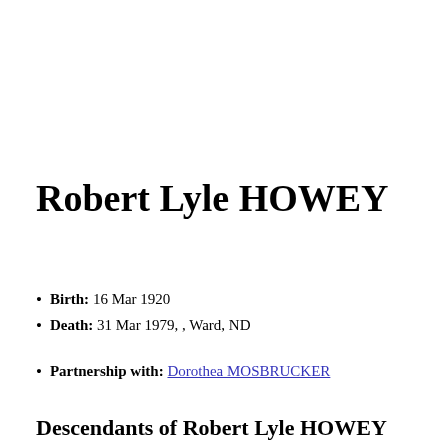Robert Lyle HOWEY
Birth: 16 Mar 1920
Death: 31 Mar 1979, , Ward, ND
Partnership with: Dorothea MOSBRUCKER
Descendants of Robert Lyle HOWEY